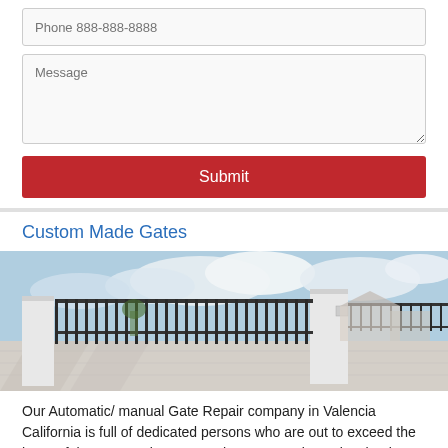Phone 888-888-8888
Message
Submit
Custom Made Gates
[Figure (photo): Black wrought iron automatic sliding gate with white concrete pillars, residential neighborhood in background with cloudy sky]
Our Automatic/ manual Gate Repair company in Valencia California is full of dedicated persons who are out to exceed the hope of the community. We are the gate repair service that is trusted and respected in the area. It was not easy to earn that